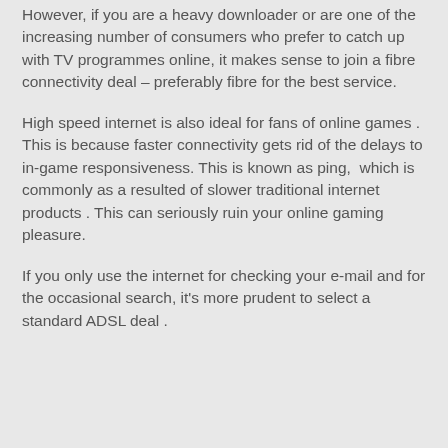However, if you are a heavy downloader or are one of the increasing number of consumers who prefer to catch up with TV programmes online, it makes sense to join a fibre connectivity deal – preferably fibre for the best service.
High speed internet is also ideal for fans of online games . This is because faster connectivity gets rid of the delays to in-game responsiveness. This is known as ping,  which is commonly as a resulted of slower traditional internet products . This can seriously ruin your online gaming pleasure.
If you only use the internet for checking your e-mail and for the occasional search, it's more prudent to select a standard ADSL deal .